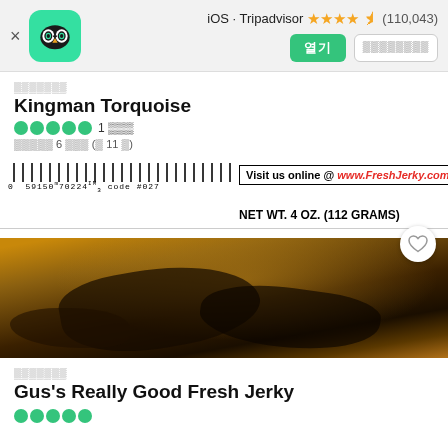iOS · Tripadvisor ★★★★☆ (110,043)
▒▒▒▒▒▒▒
Kingman Torquoise
●●●●● 1 ▒▒▒
▒▒▒▒▒ 6 ▒▒▒ (▒ 11 ▒)
[Figure (photo): Close-up photo of a beef jerky package label. Text reads: Visit us online @ www.FreshJerky.com, NET WT. 4 OZ. (112 GRAMS), barcode 0 59150 70224 3 code #027, Inspected and Passed by Department of Agriculture seal. Background shows dark beef jerky pieces visible through the packaging.]
▒▒▒▒▒▒▒
Gus's Really Good Fresh Jerky